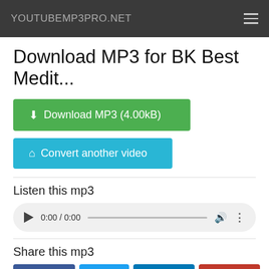YOUTUBEMP3PRO.NET
Download MP3 for BK Best Medit...
Download MP3 (4.00kB)
Convert another video
Listen this mp3
[Figure (other): Audio player widget showing 0:00 / 0:00 with progress bar, volume and more icons]
Share this mp3
Facebook  Twitter  LinkedIn  Pinterest